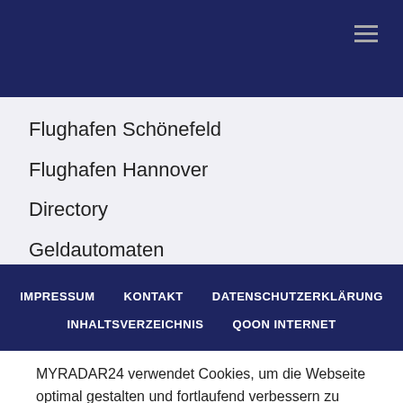Flughafen Schönefeld
Flughafen Hannover
Directory
Geldautomaten
IMPRESSUM  KONTAKT  DATENSCHUTZERKLÄRUNG  INHALTSVERZEICHNIS  QOON INTERNET
MYRADAR24 verwendet Cookies, um die Webseite optimal gestalten und fortlaufend verbessern zu können. Durch die weitere Nutzung stimmen Sie der Verwendung von Cookies zu.
OK